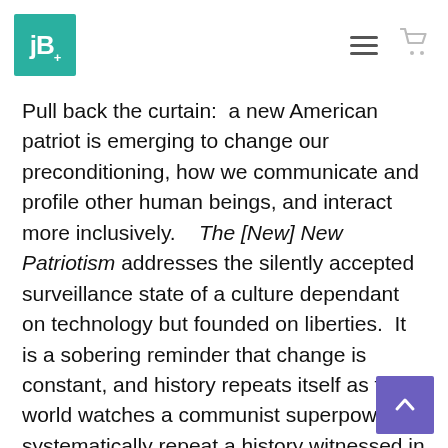jB logo with hamburger menu and cart icon
Pull back the curtain:  a new American patriot is emerging to change our preconditioning, how we communicate and profile other human beings, and interact more inclusively.   The [New] New Patriotism addresses the silently accepted surveillance state of a culture dependant on technology but founded on liberties.  It is a sobering reminder that change is constant, and history repeats itself as the world watches a communist superpower systematically repeat a history witnessed in Europe during the 1930s.